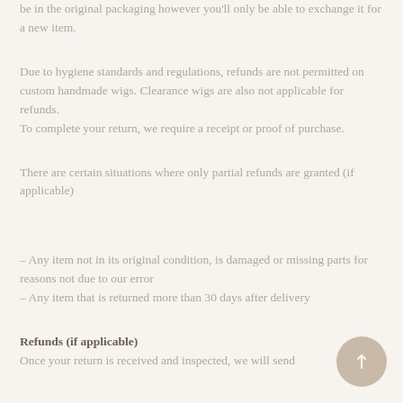be in the original packaging however you'll only be able to exchange it for a new item.
Due to hygiene standards and regulations, refunds are not permitted on custom handmade wigs. Clearance wigs are also not applicable for refunds.
To complete your return, we require a receipt or proof of purchase.
There are certain situations where only partial refunds are granted (if applicable)
– Any item not in its original condition, is damaged or missing parts for reasons not due to our error
– Any item that is returned more than 30 days after delivery
Refunds (if applicable)
Once your return is received and inspected, we will send